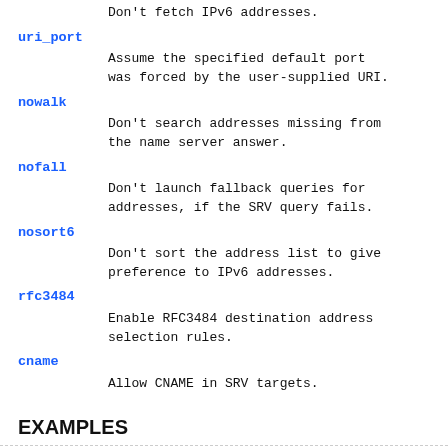Don't fetch IPv6 addresses.
uri_port
Assume the specified default port was forced by the user-supplied URI.
nowalk
Don't search addresses missing from the name server answer.
nofall
Don't launch fallback queries for addresses, if the SRV query fails.
nosort6
Don't sort the address list to give preference to IPv6 addresses.
rfc3484
Enable RFC3484 destination address selection rules.
cname
Allow CNAME in SRV targets.
EXAMPLES
echo _sip._udp.nonsrv.org | getaddrinfo